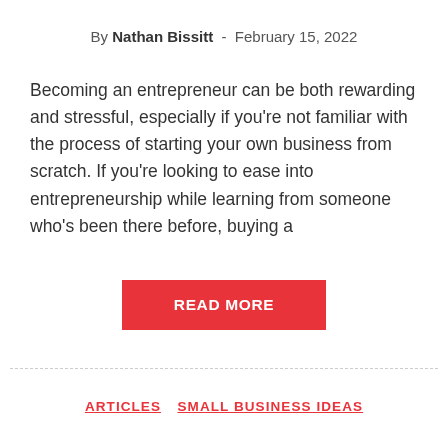By Nathan Bissitt - February 15, 2022
Becoming an entrepreneur can be both rewarding and stressful, especially if you're not familiar with the process of starting your own business from scratch. If you're looking to ease into entrepreneurship while learning from someone who's been there before, buying a
READ MORE
ARTICLES  SMALL BUSINESS IDEAS